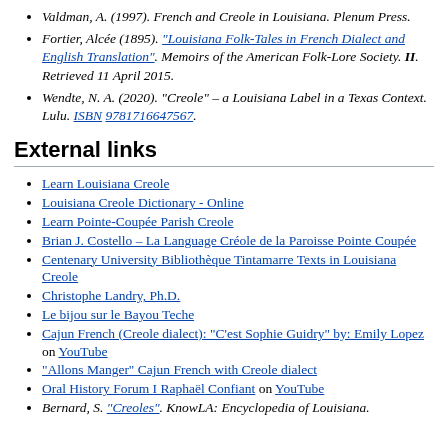Valdman, A. (1997). French and Creole in Louisiana. Plenum Press.
Fortier, Alcée (1895). "Louisiana Folk-Tales in French Dialect and English Translation". Memoirs of the American Folk-Lore Society. II. Retrieved 11 April 2015.
Wendte, N. A. (2020). "Creole" – a Louisiana Label in a Texas Context. Lulu. ISBN 9781716647567.
External links
Learn Louisiana Creole
Louisiana Creole Dictionary - Online
Learn Pointe-Coupée Parish Creole
Brian J. Costello – La Language Créole de la Paroisse Pointe Coupée
Centenary University Bibliothèque Tintamarre Texts in Louisiana Creole
Christophe Landry, Ph.D.
Le bijou sur le Bayou Teche
Cajun French (Creole dialect): "C'est Sophie Guidry" by: Emily Lopez on YouTube
"Allons Manger" Cajun French with Creole dialect
Oral History Forum I Raphaël Confiant on YouTube
Bernard, S. "Creoles". KnowLA: Encyclopedia of Louisiana.